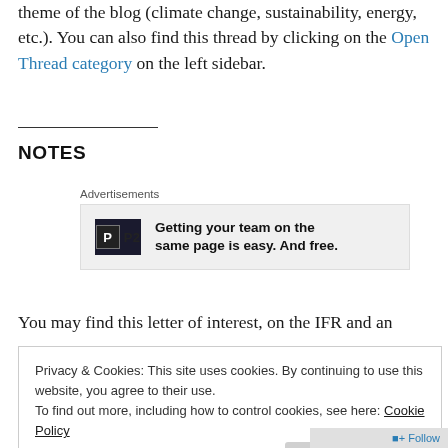theme of the blog (climate change, sustainability, energy, etc.). You can also find this thread by clicking on the Open Thread category on the left sidebar.
NOTES
[Figure (other): Advertisement box for P2 service with logo and text: Getting your team on the same page is easy. And free.]
You may find this letter of interest, on the IFR and an
Privacy & Cookies: This site uses cookies. By continuing to use this website, you agree to their use. To find out more, including how to control cookies, see here: Cookie Policy